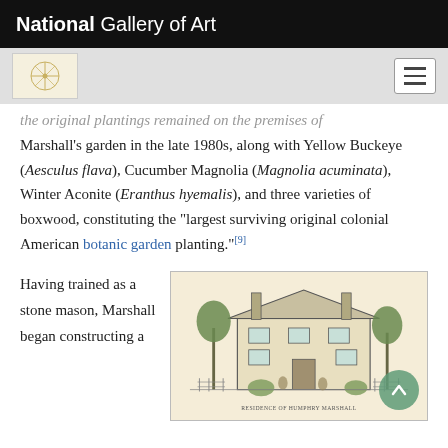National Gallery of Art
the original plantings remained on the premises of Marshall's garden in the late 1980s, along with Yellow Buckeye (Aesculus flava), Cucumber Magnolia (Magnolia acuminata), Winter Aconite (Eranthus hyemalis), and three varieties of boxwood, constituting the "largest surviving original colonial American botanic garden planting."[9]
Having trained as a stone mason, Marshall began constructing a
[Figure (illustration): Historical engraving or illustration of a colonial-era house with trees, a fence, and people in the foreground. Caption below reads text related to Bartram's or Marshall's homestead.]